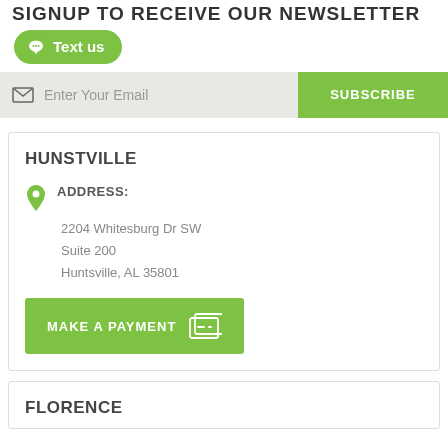SIGNUP TO RECEIVE OUR NEWSLETTER
Text us
Enter Your Email  SUBSCRIBE
HUNSTVILLE
ADDRESS:
2204 Whitesburg Dr SW
Suite 200
Huntsville, AL 35801
MAKE A PAYMENT
FLORENCE